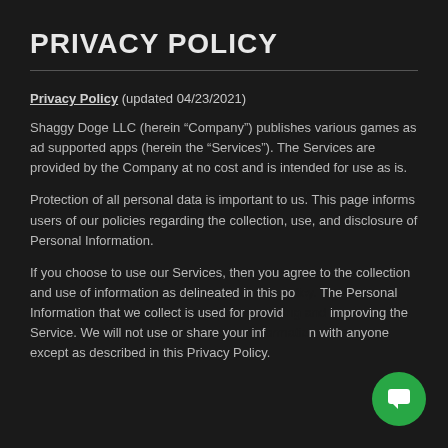PRIVACY POLICY
Privacy Policy (updated 04/23/2021)
Shaggy Doge LLC (herein “Company”) publishes various games as ad supported apps (herein the “Services”). The Services are provided by the Company at no cost and is intended for use as is.
Protection of all personal data is important to us. This page informs users of our policies regarding the collection, use, and disclosure of Personal Information.
If you choose to use our Services, then you agree to the collection and use of information as delineated in this policy. The Personal Information that we collect is used for providing and improving the Service. We will not use or share your information with anyone except as described in this Privacy Policy.